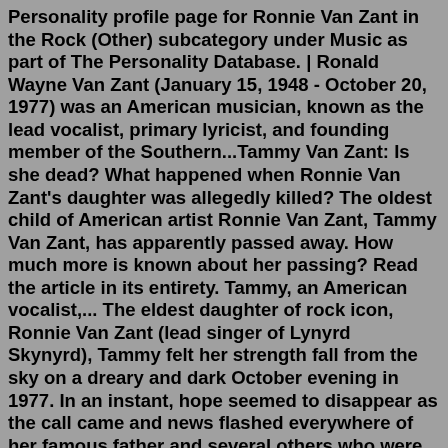Personality profile page for Ronnie Van Zant in the Rock (Other) subcategory under Music as part of The Personality Database. | Ronald Wayne Van Zant (January 15, 1948 - October 20, 1977) was an American musician, known as the lead vocalist, primary lyricist, and founding member of the Southern...Tammy Van Zant: Is she dead? What happened when Ronnie Van Zant's daughter was allegedly killed? The oldest child of American artist Ronnie Van Zant, Tammy Van Zant, has apparently passed away. How much more is known about her passing? Read the article in its entirety. Tammy, an American vocalist,... The eldest daughter of rock icon, Ronnie Van Zant (lead singer of Lynyrd Skynyrd), Tammy felt her strength fall from the sky on a dreary and dark October evening in 1977. In an instant, hope seemed to disappear as the call came and news flashed everywhere of her famous father and several others who were killed in a plane crash in a swampy area ...Johnny Van Zant Photos Photos - Johnny Van Zant of Lynyrd Skynyrd performs onstage during the